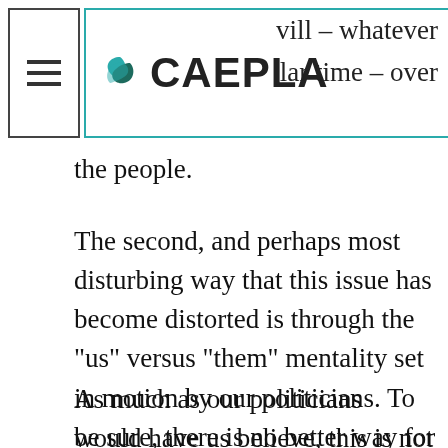CAEPLA — will – whatever a lar time – over
the people.
The second, and perhaps most disturbing way that this issue has become distorted is through the "us" versus "them" mentality set in motion by our politicians. To be sure, there is no better way for a political party to gain support than to turn the majority against an external threat.
As much as our politicians would have us believe, this is not an issue between British Columbians and Albertans. This